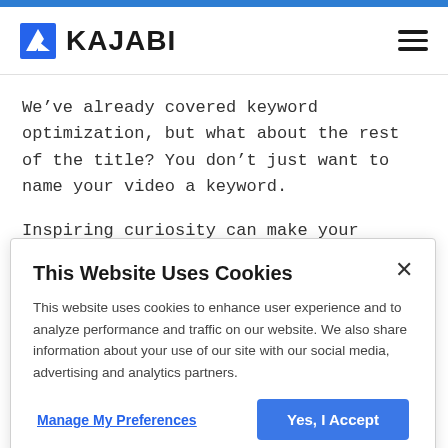KAJABI
We’ve already covered keyword optimization, but what about the rest of the title? You don’t just want to name your video a keyword.
Inspiring curiosity can make your videos more appealing. For instance, you could title a video “How
This Website Uses Cookies
This website uses cookies to enhance user experience and to analyze performance and traffic on our website. We also share information about your use of our site with our social media, advertising and analytics partners.
Manage My Preferences
Yes, I Accept